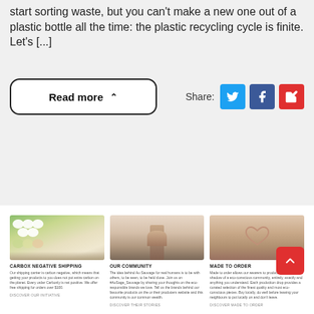start sorting waste, but you can't make a new one out of a plastic bottle all the time: the plastic recycling cycle is finite. Let's [...]
Read more
Share:
[Figure (screenshot): Three card thumbnails: CARBOX NEGATIVE SHIPPING (floral image), OUR COMMUNITY (fashion/person image), MADE TO ORDER (hands forming heart image), with small text descriptions and links beneath each]
[Figure (illustration): Red scroll-to-top button with upward chevron arrow]